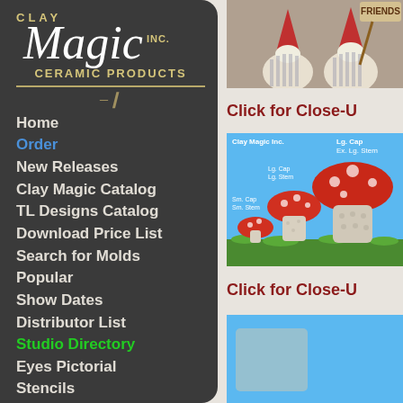[Figure (logo): Clay Magic Inc. Ceramic Products logo with white italic script 'Magic' on dark background with gold text]
Home
Order
New Releases
Clay Magic Catalog
TL Designs Catalog
Download Price List
Search for Molds
Popular
Show Dates
Distributor List
Studio Directory
Eyes Pictorial
Stencils
Contact
[Figure (photo): Two gnome ceramic figurines holding a 'FRIENDS' sign]
Click for Close-U
[Figure (photo): Clay Magic Inc. mushroom ceramic molds in various sizes: Sm. Cap Sm. Stem, Lg. Cap Lg. Stem, Lg. Cap, Ex. Lg. Stem on blue sky background]
Click for Close-U
[Figure (photo): Partial view of another ceramic product on blue background]